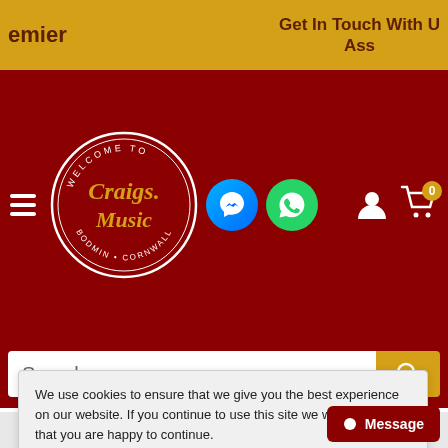emier   Get In Touch With U Ass
[Figure (logo): Craigs Music - Welcome to Bodmin Cornwall circular logo on dark red background with hamburger menu, Messenger icon, WhatsApp icon, user icon, and cart icon with 0 badge]
[Figure (screenshot): Search bar with white input field labeled Search and gold/yellow search button]
agreements, communications and proposals, whether oral or written, between you and us (including, but not limited to, any
We use cookies to ensure that we give you the best experience on our website. If you continue to use this site we will assume that you are happy to continue.
Accept
Message